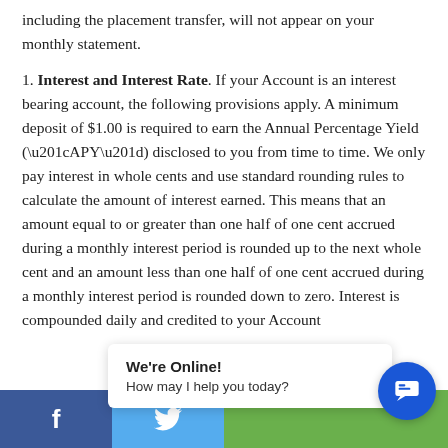including the placement transfer, will not appear on your monthly statement.
1. Interest and Interest Rate. If your Account is an interest bearing account, the following provisions apply. A minimum deposit of $1.00 is required to earn the Annual Percentage Yield (“APY”) disclosed to you from time to time. We only pay interest in whole cents and use standard rounding rules to calculate the amount of interest earned. This means that an amount equal to or greater than one half of one cent accrued during a monthly interest period is rounded up to the next whole cent and an amount less than one half of one cent accrued during a monthly interest period is rounded down to zero. Interest is compounded daily and credited to your Account
[Figure (infographic): Website social sharing bar at the bottom with Facebook (dark blue), Twitter (light blue), and green section. A chat popup reading 'We're Online! How may I help you today?' and a blue circular chat button with message icon.]